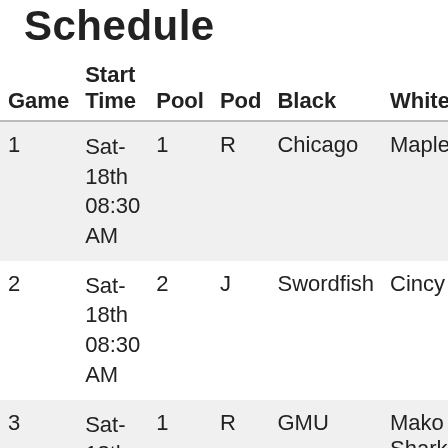Schedule
| Game | Start Time | Pool | Pod | Black | White |
| --- | --- | --- | --- | --- | --- |
| 1 | Sat-18th 08:30 AM | 1 | R | Chicago | Maple... |
| 2 | Sat-18th 08:30 AM | 2 | J | Swordfish | Cincy... |
| 3 | Sat-18th 08:50 AM | 1 | R | GMU | Mako Shark... |
| 4 | Sat-... | 2 | J | River... | Sea... |